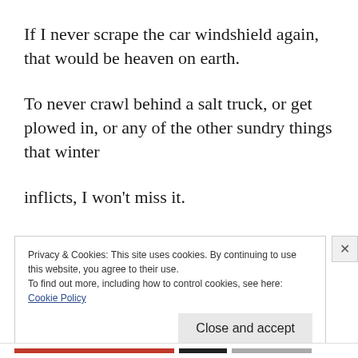If I never scrape the car windshield again, that would be heaven on earth.
To never crawl behind a salt truck, or get plowed in, or any of the other sundry things that winter
inflicts, I won't miss it.
I hate it passionately, and I can't wait until it's
Privacy & Cookies: This site uses cookies. By continuing to use this website, you agree to their use.
To find out more, including how to control cookies, see here: Cookie Policy
Close and accept